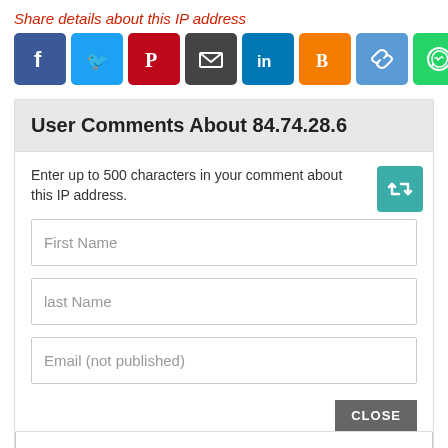Share details about this IP address
[Figure (infographic): Row of social media share buttons: Facebook, Twitter, Pinterest, Email, LinkedIn, Blogger, Copy link, WhatsApp, More (+)]
User Comments About 84.74.28.6
Enter up to 500 characters in your comment about this IP address.
First Name
last Name
Email (not published)
CLOSE
Comment Text